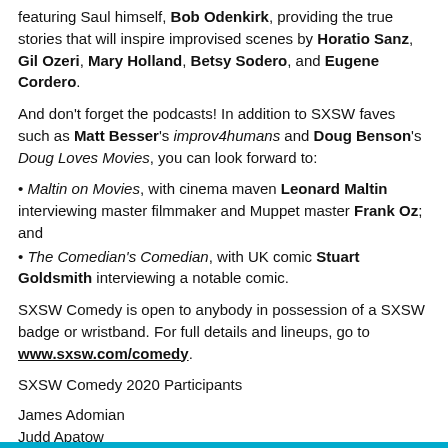featuring Saul himself, Bob Odenkirk, providing the true stories that will inspire improvised scenes by Horatio Sanz, Gil Ozeri, Mary Holland, Betsy Sodero, and Eugene Cordero.
And don't forget the podcasts! In addition to SXSW faves such as Matt Besser's improv4humans and Doug Benson's Doug Loves Movies, you can look forward to:
Maltin on Movies, with cinema maven Leonard Maltin interviewing master filmmaker and Muppet master Frank Oz; and
The Comedian's Comedian, with UK comic Stuart Goldsmith interviewing a notable comic.
SXSW Comedy is open to anybody in possession of a SXSW badge or wristband. For full details and lineups, go to www.sxsw.com/comedy.
SXSW Comedy 2020 Participants
James Adomian
Judd Apatow
Rosebud Baker
Samantha Bee
Ahmed Bharoocha
Doug Benson